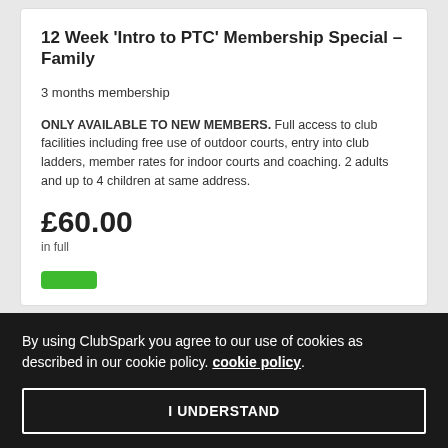12 Week 'Intro to PTC' Membership Special – Family
3 months membership
ONLY AVAILABLE TO NEW MEMBERS. Full access to club facilities including free use of outdoor courts, entry into club ladders, member rates for indoor courts and coaching. 2 adults and up to 4 children at same address.
£60.00
in full
By using ClubSpark you agree to our use of cookies as described in our cookie policy. cookie policy.
I UNDERSTAND